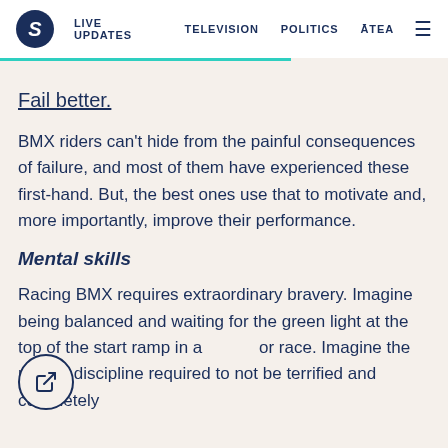S | LIVE UPDATES  TELEVISION  POLITICS  ĀTEA  ≡
Fail better.
BMX riders can't hide from the painful consequences of failure, and most of them have experienced these first-hand. But, the best ones use that to motivate and, more importantly, improve their performance.
Mental skills
Racing BMX requires extraordinary bravery. Imagine being balanced and waiting for the green light at the top of the start ramp in a or race. Imagine the mental discipline required to not be terrified and completely